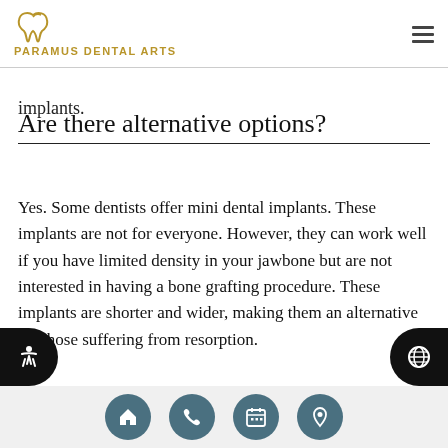Paramus Dental Arts
implants.
Are there alternative options?
Yes. Some dentists offer mini dental implants. These implants are not for everyone. However, they can work well if you have limited density in your jawbone but are not interested in having a bone grafting procedure. These implants are shorter and wider, making them an alternative for those suffering from resorption.
Navigation icons: home, phone, calendar, location